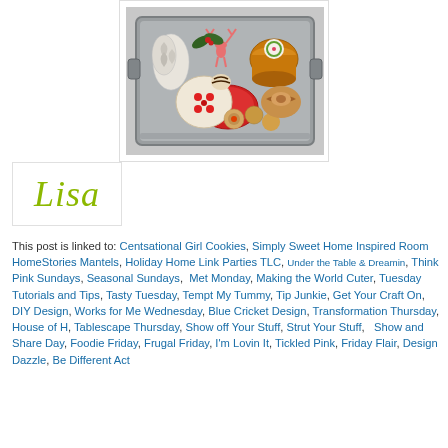[Figure (photo): A metal tray filled with assorted Christmas cookies, decorative pine cone ornaments, a pink deer figurine, and holiday treats including iced cookies and cinnamon rolls.]
[Figure (illustration): Cursive script signature reading 'Lisa' in olive/chartreuse green color on a white background with a light border.]
This post is linked to: Centsational Girl Cookies, Simply Sweet Home Inspired Room HomeStories Mantels, Holiday Home Link Parties TLC, Under the Table & Dreamin, Think Pink Sundays, Seasonal Sundays, Met Monday, Making the World Cuter, Tuesday Tutorials and Tips, Tasty Tuesday, Tempt My Tummy, Tip Junkie, Get Your Craft On, DIY Design, Works for Me Wednesday, Blue Cricket Design, Transformation Thursday, House of H, Tablescape Thursday, Show off Your Stuff, Strut Your Stuff, Show and Share Day, Foodie Friday, Frugal Friday, I'm Lovin It, Tickled Pink, Friday Flair, Design Dazzle, Be Different Act